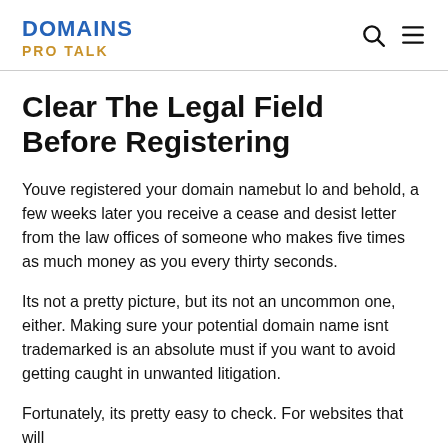DOMAINS PRO TALK
Clear The Legal Field Before Registering
Youve registered your domain namebut lo and behold, a few weeks later you receive a cease and desist letter from the law offices of someone who makes five times as much money as you every thirty seconds.
Its not a pretty picture, but its not an uncommon one, either. Making sure your potential domain name isnt trademarked is an absolute must if you want to avoid getting caught in unwanted litigation.
Fortunately, its pretty easy to check. For websites that will